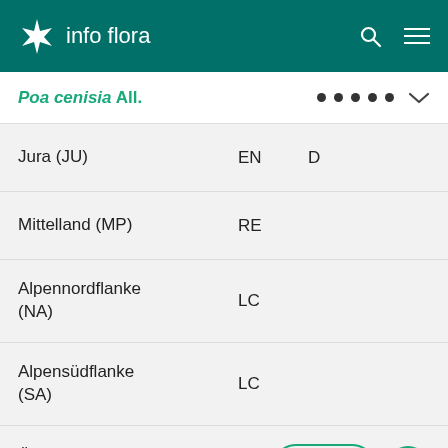info flora
Poa cenisia All.
| Region | Status | Extra |
| --- | --- | --- |
| Jura (JU) | EN | D |
| Mittelland (MP) | RE |  |
| Alpennordflanke (NA) | LC |  |
| Alpensüdflanke (SA) | LC |  |
| Östliche Zentralalpen (EA) | LC |  |